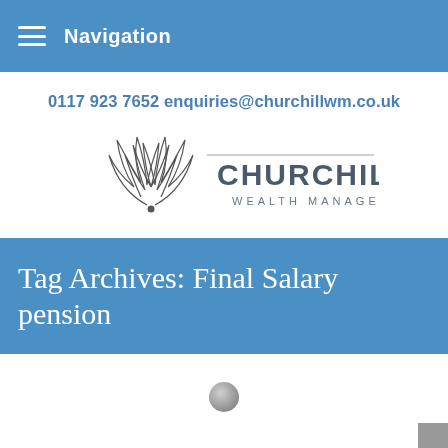Navigation
0117 923 7652 enquiries@churchillwm.co.uk
[Figure (logo): Churchill Wealth Management logo with stylized wing/leaf emblem on left and 'CHURCHILL WEALTH MANAGEMENT' text on right]
Tag Archives: Final Salary pension